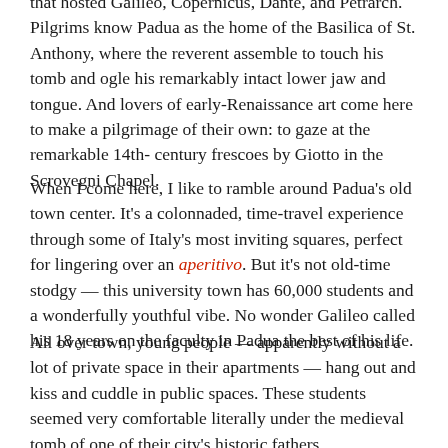that hosted Galileo, Copernicus, Dante, and Petrarch. Pilgrims know Padua as the home of the Basilica of St. Anthony, where the reverent assemble to touch his tomb and ogle his remarkably intact lower jaw and tongue. And lovers of early-Renaissance art come here to make a pilgrimage of their own: to gaze at the remarkable 14th-century frescoes by Giotto in the Scrovegni Chapel.
When I come here, I like to ramble around Padua's old town center. It's a colonnaded, time-travel experience through some of Italy's most inviting squares, perfect for lingering over an aperitivo. But it's not old-time stodgy — this university town has 60,000 students and a wonderfully youthful vibe. No wonder Galileo called his 18 years on the faculty in Padua the best of his life.
All over town, young people — apparently without a lot of private space in their apartments — hang out and kiss and cuddle in public spaces. These students seemed very comfortable literally under the medieval tomb of one of their city's historic fathers.